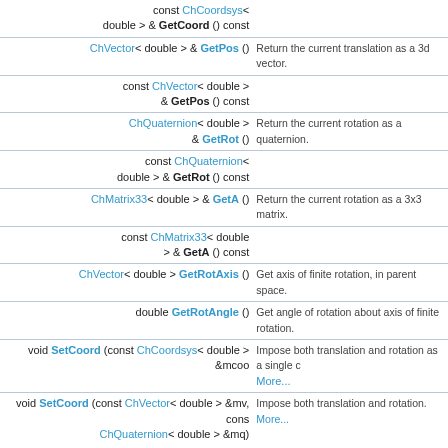| Return | Method/Description |
| --- | --- |
| const ChCoordsys< double > & GetCoord () const |  |
| ChVector< double > & GetPos () | Return the current translation as a 3d vector. |
| const ChVector< double > & GetPos () const |  |
| ChQuaternion< double > & GetRot () | Return the current rotation as a quaternion. |
| const ChQuaternion< double > & GetRot () const |  |
| ChMatrix33< double > & GetA () | Return the current rotation as a 3x3 matrix. |
| const ChMatrix33< double > > & GetA () const |  |
| ChVector< double > GetRotAxis () | Get axis of finite rotation, in parent space. |
| double GetRotAngle () | Get angle of rotation about axis of finite rotation. |
| void SetCoord (const ChCoordsys< double > &mcoo | Impose both translation and rotation as a single C More... |
| void SetCoord (const ChVector< double > &mv, cons ChQuaternion< double > &mq) | Impose both translation and rotation. More... |